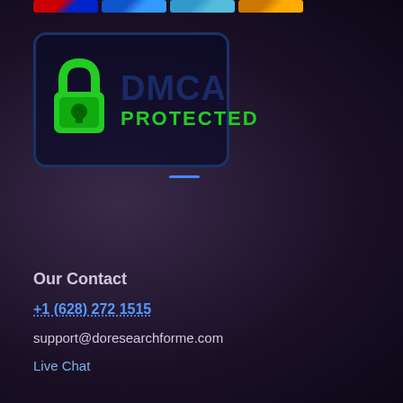[Figure (other): Payment method logos strip at top: Mastercard/Visa, PayPal, another card, and Discover/orange card]
[Figure (logo): DMCA PROTECTED badge with green padlock icon and dark blue text on dark background with rounded border]
Our Contact
+1 (628) 272 1515
support@doresearchforme.com
Live Chat